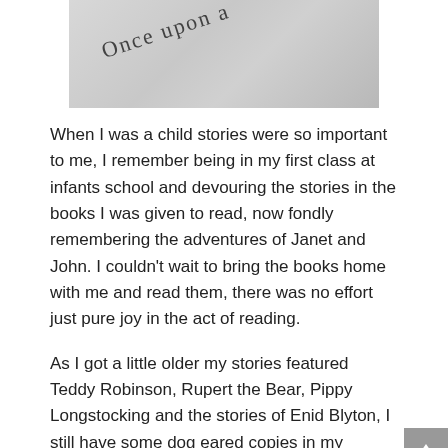[Figure (photo): A photo of handwritten text 'Once upon a' on paper, shown at an angle against a grey background]
When I was a child stories were so important to me, I remember being in my first class at infants school and devouring the stories in the books I was given to read, now fondly remembering the adventures of Janet and John. I couldn't wait to bring the books home with me and read them, there was no effort just pure joy in the act of reading.
As I got a little older my stories featured Teddy Robinson, Rupert the Bear, Pippy Longstocking and the stories of Enid Blyton, I still have some dog eared copies in my bookcase today. As a child I was always somewhere with my nose in a book and through my teenage years I was hooked on the stories from our ancient past, from Rome, China and Egypt and this led